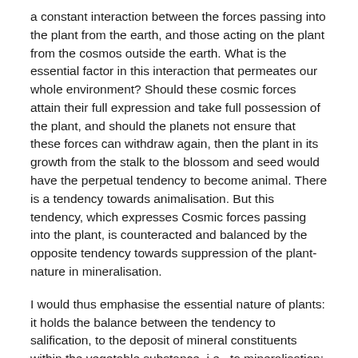a constant interaction between the forces passing into the plant from the earth, and those acting on the plant from the cosmos outside the earth. What is the essential factor in this interaction that permeates our whole environment? Should these cosmic forces attain their full expression and take full possession of the plant, and should the planets not ensure that these forces can withdraw again, then the plant in its growth from the stalk to the blossom and seed would have the perpetual tendency to become animal. There is a tendency towards animalisation. But this tendency, which expresses Cosmic forces passing into the plant, is counteracted and balanced by the opposite tendency towards suppression of the plant-nature in mineralisation.
I would thus emphasise the essential nature of plants: it holds the balance between the tendency to salification, to the deposit of mineral constituents within the vegetable substance, i.e., to mineralisation; and on the other hand to